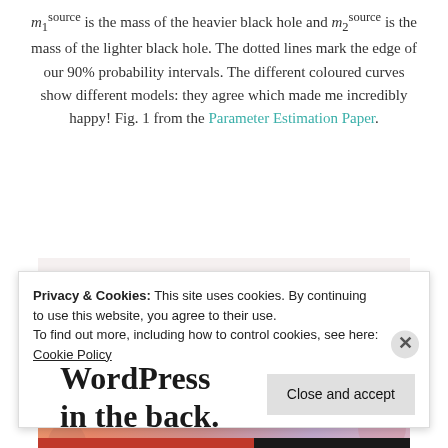m_1^source is the mass of the heavier black hole and m_2^source is the mass of the lighter black hole. The dotted lines mark the edge of our 90% probability intervals. The different coloured curves show different models: they agree which made me incredibly happy! Fig. 1 from the Parameter Estimation Paper.
[Figure (screenshot): Advertisement screenshot showing bold serif text: partially cut off text at top ('Business in... the front...') on a light background, and below 'WordPress in the back.' on a colorful gradient background with peach, pink, and purple blob shapes.]
Privacy & Cookies: This site uses cookies. By continuing to use this website, you agree to their use. To find out more, including how to control cookies, see here: Cookie Policy
Close and accept